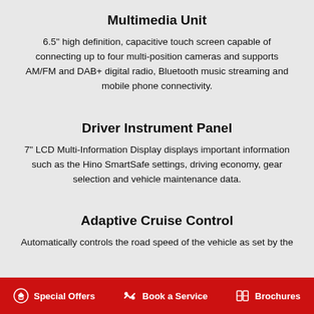Multimedia Unit
6.5" high definition, capacitive touch screen capable of connecting up to four multi-position cameras and supports AM/FM and DAB+ digital radio, Bluetooth music streaming and mobile phone connectivity.
Driver Instrument Panel
7" LCD Multi-Information Display displays important information such as the Hino SmartSafe settings, driving economy, gear selection and vehicle maintenance data.
Adaptive Cruise Control
Automatically controls the road speed of the vehicle as set by the
Special Offers   Book a Service   Brochures